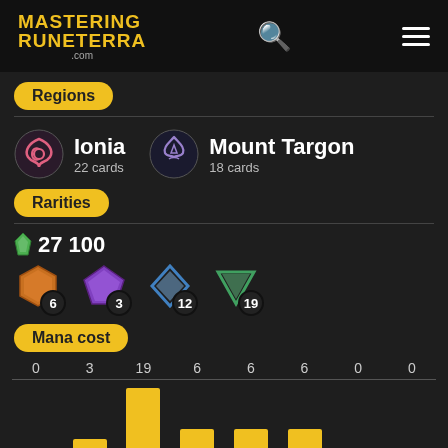MASTERING RUNETERRA .com
Regions
Ionia 22 cards | Mount Targon 18 cards
Rarities
27 100 (shards)
Common: 6, Rare: 3, Epic: 12, Champion: 19
Mana cost
[Figure (bar-chart): Mana cost]
0  1  2  3  4  5  6  7+